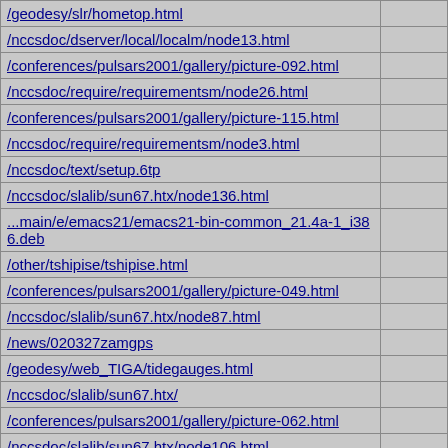| URL |  |
| --- | --- |
| /geodesy/slr/hometop.html |  |
| /nccsdoc/dserver/local/localm/node13.html |  |
| /conferences/pulsars2001/gallery/picture-092.html |  |
| /nccsdoc/require/requirementsm/node26.html |  |
| /conferences/pulsars2001/gallery/picture-115.html |  |
| /nccsdoc/require/requirementsm/node3.html |  |
| /nccsdoc/text/setup.6tp |  |
| /nccsdoc/slalib/sun67.htx/node136.html |  |
| ...main/e/emacs21/emacs21-bin-common_21.4a-1_i386.deb |  |
| /other/tshipise/tshipise.html |  |
| /conferences/pulsars2001/gallery/picture-049.html |  |
| /nccsdoc/slalib/sun67.htx/node87.html |  |
| /news/020327zamgps |  |
| /geodesy/web_TIGA/tidegauges.html |  |
| /nccsdoc/slalib/sun67.htx/ |  |
| /conferences/pulsars2001/gallery/picture-062.html |  |
| /nccsdoc/slalib/sun67.htx/node106.html |  |
| /geodesy/THEIGSST_files/image001.png |  |